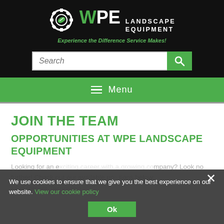[Figure (logo): WPE Landscape Equipment logo with gear icon and green leaf, on black background. Tagline: Experience the Difference Service Makes!]
[Figure (screenshot): Search bar with text 'Search' and a green search button icon]
[Figure (screenshot): Green navigation menu bar with hamburger icon and 'Menu' label]
JOIN THE TEAM
OPPORTUNITIES AT WPE LANDSCAPE EQUIPMENT
Looking for an exciting career with a growing company? Look no further! Check out our available positions below:
Equipment Technician
We use cookies to ensure that we give you the best experience on our website. View our cookie policy
[Figure (screenshot): Cookie consent overlay with Ok button and close X]